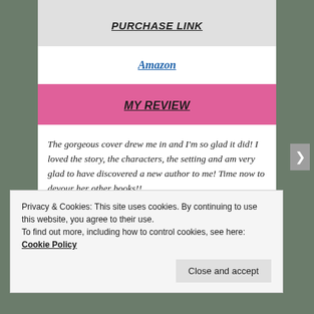PURCHASE LINK
Amazon
MY REVIEW
The gorgeous cover drew me in and I'm so glad it did! I loved the story, the characters, the setting and am very glad to have discovered a new author to me! Time now to devour her other books!!
Privacy & Cookies: This site uses cookies. By continuing to use this website, you agree to their use.
To find out more, including how to control cookies, see here: Cookie Policy